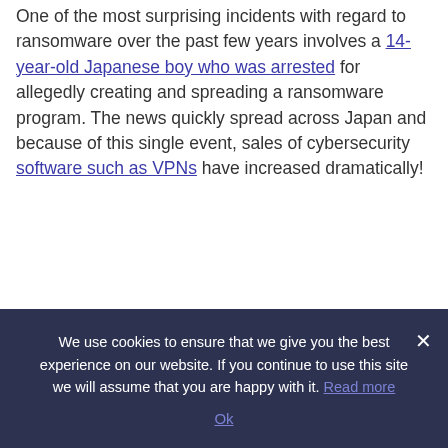One of the most surprising incidents with regard to ransomware over the past few years involves a 14-year-old Japanese boy who was arrested for allegedly creating and spreading a ransomware program. The news quickly spread across Japan and because of this single event, sales of cybersecurity software such as VPNs have increased dramatically!
We use cookies to ensure that we give you the best experience on our website. If you continue to use this site we will assume that you are happy with it. Read more Ok